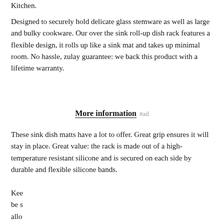Kitchen.
Designed to securely hold delicate glass stemware as well as large and bulky cookware. Our over the sink roll-up dish rack features a flexible design, it rolls up like a sink mat and takes up minimal room. No hassle, zulay guarantee: we back this product with a lifetime warranty.
More information #ad
These sink dish matts have a lot to offer. Great grip ensures it will stay in place. Great value: the rack is made out of a high-temperature resistant silicone and is secured on each side by durable and flexible silicone bands.
Kee[truncated] be s[truncated] allo[truncated] with[truncated]
As an Amazon Associate I earn from qualifying purchases. This website uses the only necessary cookies to ensure you get the best experience on our website. More information